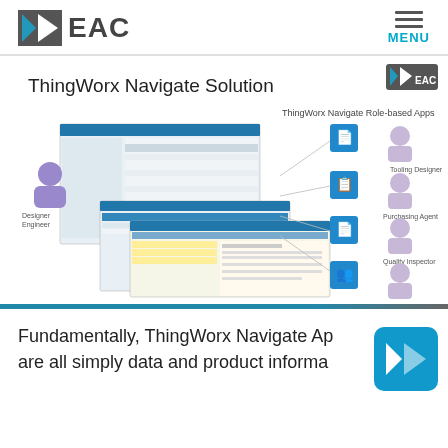[Figure (logo): EAC company logo with stylized K/arrow icon in dark gray and blue, followed by bold EAC text]
[Figure (infographic): ThingWorx Navigate Solution diagram showing role-based apps including Tooling Designer, Purchasing Agent, Quality Inspector, Process Planner connected to software interface screenshots with Designer/Engineer persona on left]
Fundamentally, ThingWorx Navigate Apps are all simply data and product informa...